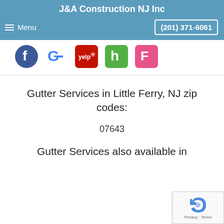J&A Construction NJ Inc
Menu  (201) 371-6061
[Figure (screenshot): Social media icons: Facebook, Google, Yelp, Houzz, Foursquare]
Gutter Services in Little Ferry, NJ zip codes:
07643
Gutter Services also available in